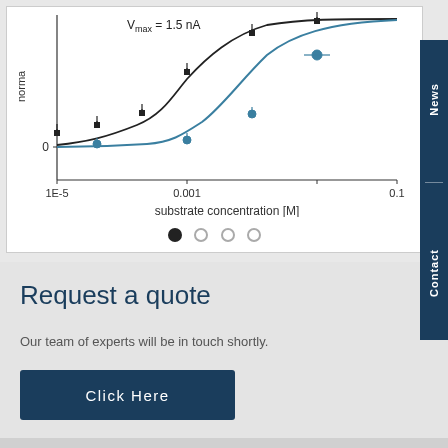[Figure (continuous-plot): Michaelis-Menten kinetics plot showing normalized current vs substrate concentration [M] on a log scale from 1E-5 to 0.1. Two sigmoid curves: black squares/curve and blue circles/curve. Annotation shows Vmax = 1.5 nA.]
[Figure (other): Carousel navigation dots: one filled black dot and three empty circle dots]
Request a quote
Our team of experts will be in touch shortly.
Click Here